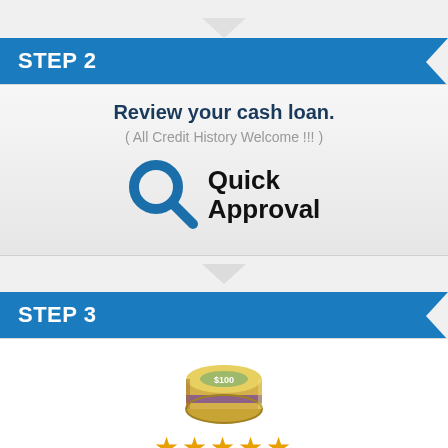STEP 2
Review your cash loan.
( All Credit History Welcome !!! )
[Figure (infographic): Magnifying glass icon with 'Quick Approval' text next to it]
STEP 3
[Figure (photo): Roll of $100 bills tied with a band]
[Figure (infographic): Five gold/yellow stars rating]
Click Here To Get Cash in 1 Day.